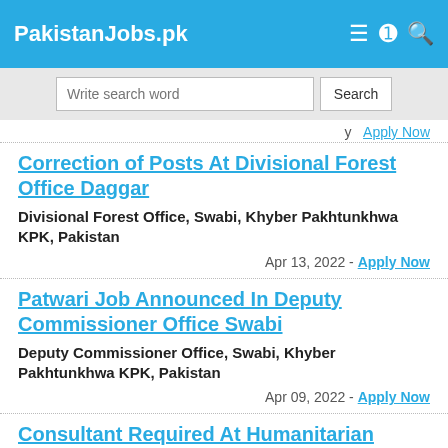PakistanJobs.pk
Write search word | Search
Apply Now (partial, top entry cut off)
Correction of Posts At Divisional Forest Office Daggar
Divisional Forest Office, Swabi, Khyber Pakhtunkhwa KPK, Pakistan
Apr 13, 2022 - Apply Now
Patwari Job Announced In Deputy Commissioner Office Swabi
Deputy Commissioner Office, Swabi, Khyber Pakhtunkhwa KPK, Pakistan
Apr 09, 2022 - Apply Now
Consultant Required At Humanitarian Organization Swabi
Humanitarian Organization, Swabi, Khyber Pakhtunkhwa KPK, Pakistan